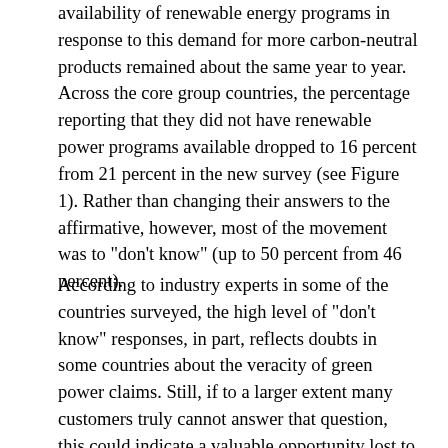availability of renewable energy programs in response to this demand for more carbon-neutral products remained about the same year to year. Across the core group countries, the percentage reporting that they did not have renewable power programs available dropped to 16 percent from 21 percent in the new survey (see Figure 1). Rather than changing their answers to the affirmative, however, most of the movement was to "don't know" (up to 50 percent from 46 percent).
According to industry experts in some of the countries surveyed, the high level of "don't know" responses, in part, reflects doubts in some countries about the veracity of green power claims. Still, if to a larger extent many customers truly cannot answer that question, this could indicate a valuable opportunity lost to ineffective communication with customers in countries with significant renewable